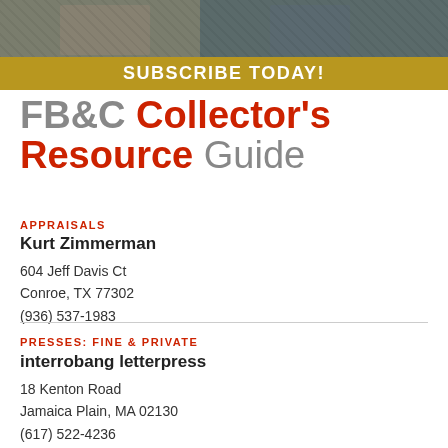[Figure (other): Advertisement banner with photo of people and gold 'SUBSCRIBE TODAY!' text bar]
FB&C Collector's Resource Guide
APPRAISALS
Kurt Zimmerman
604 Jeff Davis Ct
Conroe, TX 77302
(936) 537-1983
PRESSES: FINE & PRIVATE
interrobang letterpress
18 Kenton Road
Jamaica Plain, MA 02130
(617) 522-4236